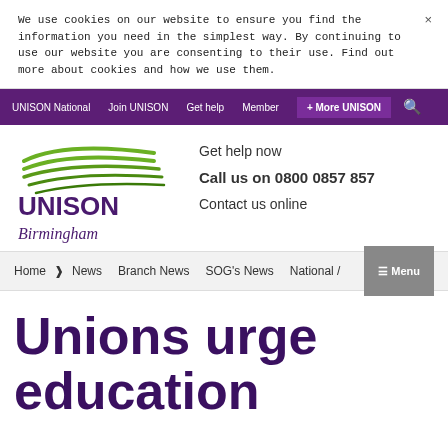We use cookies on our website to ensure you find the information you need in the simplest way. By continuing to use our website you are consenting to their use. Find out more about cookies and how we use them.
UNISON National  Join UNISON  Get help  Member  + More UNISON
[Figure (logo): UNISON Birmingham logo with green swoosh above purple UNISON text and Birmingham in italic below]
Get help now
Call us on 0800 0857 857
Contact us online
Home > News  Branch News  SOG's News  National /  Menu
Unions urge education